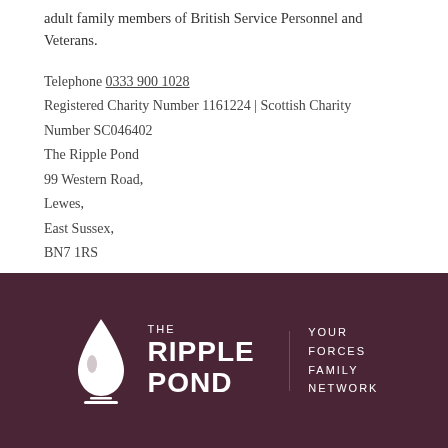adult family members of British Service Personnel and Veterans.
Telephone 0333 900 1028
Registered Charity Number 1161224 | Scottish Charity Number SC046402
The Ripple Pond
99 Western Road,
Lewes,
East Sussex,
BN7 1RS
[Figure (logo): The Ripple Pond logo on dark maroon background — white water drop icon, text 'THE RIPPLE POND' and tagline 'YOUR FORCES FAMILY NETWORK']